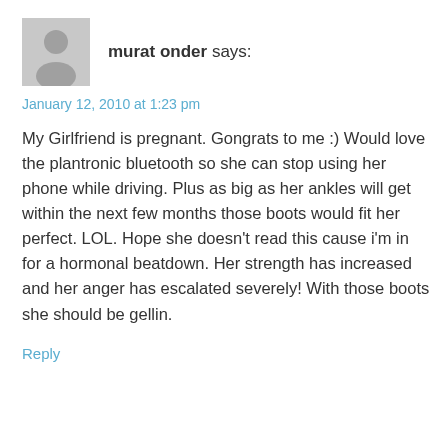[Figure (illustration): Gray placeholder avatar icon of a person silhouette]
murat onder says:
January 12, 2010 at 1:23 pm
My Girlfriend is pregnant. Gongrats to me :) Would love the plantronic bluetooth so she can stop using her phone while driving. Plus as big as her ankles will get within the next few months those boots would fit her perfect. LOL. Hope she doesn't read this cause i'm in for a hormonal beatdown. Her strength has increased and her anger has escalated severely! With those boots she should be gellin.
Reply